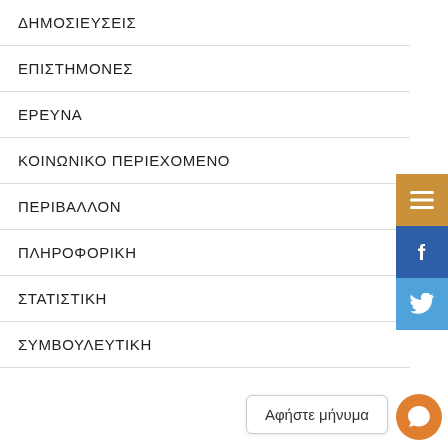ΔΗΜΟΣΙΕΥΣΕΙΣ
ΕΠΙΣΤΗΜΟΝΕΣ
ΕΡΕΥΝΑ
ΚΟΙΝΩΝΙΚΟ ΠΕΡΙΕΧΟΜΕΝΟ
ΠΕΡΙΒΑΛΛΟΝ
ΠΛΗΡΟΦΟΡΙΚΗ
ΣΤΑΤΙΣΤΙΚΗ
ΣΥΜΒΟΥΛΕΥΤΙΚΗ
Αφήστε μήνυμα